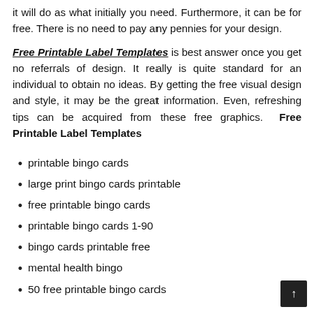it will do as what initially you need. Furthermore, it can be for free. There is no need to pay any pennies for your design.
Free Printable Label Templates is best answer once you get no referrals of design. It really is quite standard for an individual to obtain no ideas. By getting the free visual design and style, it may be the great information. Even, refreshing tips can be acquired from these free graphics. Free Printable Label Templates
printable bingo cards
large print bingo cards printable
free printable bingo cards
printable bingo cards 1-90
bingo cards printable free
mental health bingo
50 free printable bingo cards